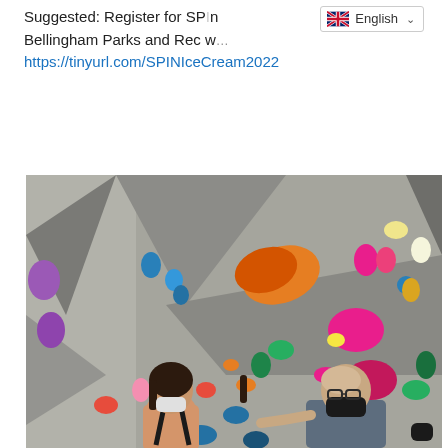Suggested: Register for SPIN Ice Cream with Bellingham Parks and Rec w... https://tinyurl.com/SPINIceCream2022
[Figure (photo): Two people wearing masks stand in front of an indoor climbing wall covered with colorful climbing holds. One person appears to be an instructor pointing at the wall while the other observes.]